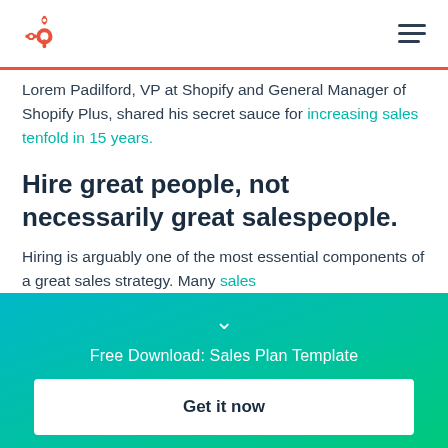HubSpot logo and hamburger menu
Lorem Padilford, VP at Shopify and General Manager of Shopify Plus, shared his secret sauce for increasing sales tenfold in 15 years.
Hire great people, not necessarily great salespeople.
Hiring is arguably one of the most essential components of a great sales strategy. Many sales
Free Download: Sales Plan Template
Get it now